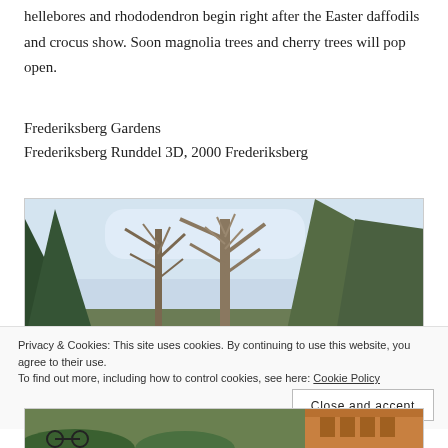hellebores and rhododendron begin right after the Easter daffodils and crocus show. Soon magnolia trees and cherry trees will pop open.
Frederiksberg Gardens
Frederiksberg Runddel 3D, 2000 Frederiksberg
[Figure (photo): Bare winter trees with light blue sky in Frederiksberg Gardens]
Privacy & Cookies: This site uses cookies. By continuing to use this website, you agree to their use.
To find out more, including how to control cookies, see here: Cookie Policy
[Figure (photo): Lower portion of Frederiksberg Gardens showing garden and building]